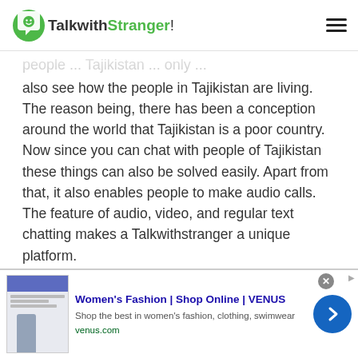TalkwithStranger!
also see how the people in Tajikistan are living. The reason being, there has been a conception around the world that Tajikistan is a poor country. Now since you can chat with people of Tajikistan these things can also be solved easily. Apart from that, it also enables people to make audio calls. The feature of audio, video, and regular text chatting makes a Talkwithstranger a unique platform.
2. Multimedia messaging with Tadzhik users:
[Figure (screenshot): Advertisement banner for Women's Fashion at VENUS (venus.com) with thumbnail image and navigation arrow button]